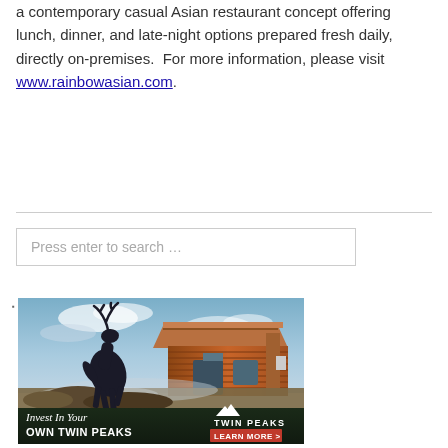a contemporary casual Asian restaurant concept offering lunch, dinner, and late-night options prepared fresh daily, directly on-premises.  For more information, please visit www.rainbowasian.com.
Press enter to search …
[Figure (photo): Advertisement for Twin Peaks restaurant franchise. Shows a large dark metal elk sculpture rearing up in front of a log cabin style building with a cloudy sky background. Bottom bar reads 'Invest In Your OWN TWIN PEAKS' with a 'TWIN PEAKS LEARN MORE >' button.]